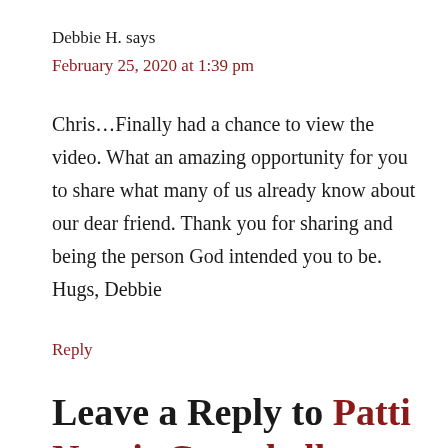Debbie H. says
February 25, 2020 at 1:39 pm
Chris...Finally had a chance to view the video. What an amazing opportunity for you to share what many of us already know about our dear friend. Thank you for sharing and being the person God intended you to be. Hugs, Debbie
Reply
Leave a Reply to Patti Norris Campbell